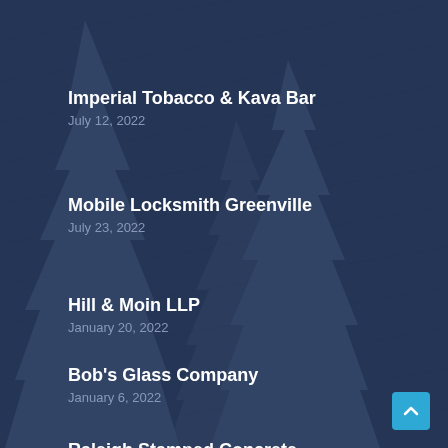Imperial Tobacco & Kava Bar
July 12, 2022
Mobile Locksmith Greenville
July 23, 2022
Hill & Moin LLP
January 20, 2022
Bob's Glass Company
January 6, 2022
Raleigh Stamped Concrete
June 16, 2022